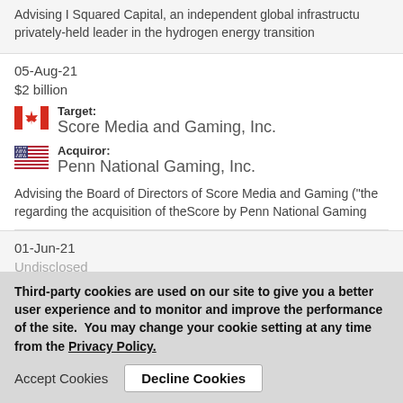Advising I Squared Capital, an independent global infrastructure privately-held leader in the hydrogen energy transition
05-Aug-21
$2 billion
Target: Score Media and Gaming, Inc.
Acquiror: Penn National Gaming, Inc.
Advising the Board of Directors of Score Media and Gaming ("the regarding the acquisition of theScore by Penn National Gaming
01-Jun-21
Undisclosed
Third-party cookies are used on our site to give you a better user experience and to monitor and improve the performance of the site.  You may change your cookie setting at any time from the Privacy Policy.